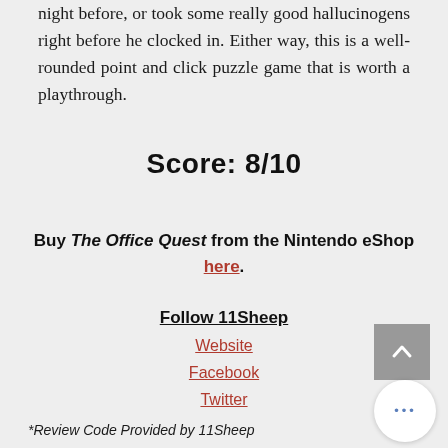night before, or took some really good hallucinogens right before he clocked in. Either way, this is a well-rounded point and click puzzle game that is worth a playthrough.
Score: 8/10
Buy The Office Quest from the Nintendo eShop here.
Follow 11Sheep
Website
Facebook
Twitter
*Review Code Provided by 11Sheep